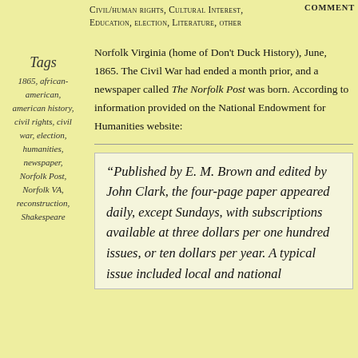Civil/human rights, Cultural Interest, Education, election, Literature, other    COMMENT
Tags
1865, african-american, american history, civil rights, civil war, election, humanities, newspaper, Norfolk Post, Norfolk VA, reconstruction, Shakespeare
Norfolk Virginia (home of Don't Duck History), June, 1865. The Civil War had ended a month prior, and a newspaper called The Norfolk Post was born. According to information provided on the National Endowment for Humanities website:
“Published by E. M. Brown and edited by John Clark, the four-page paper appeared daily, except Sundays, with subscriptions available at three dollars per one hundred issues, or ten dollars per year. A typical issue included local and national